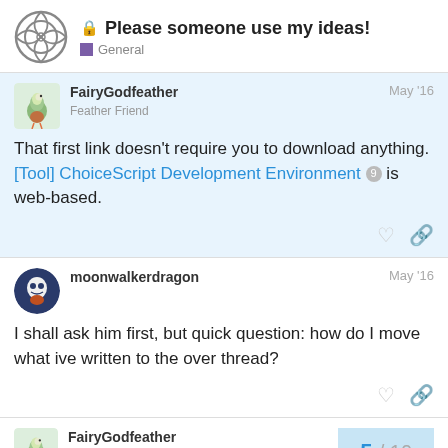Please someone use my ideas! — General
That first link doesn't require you to download anything. [Tool] ChoiceScript Development Environment 9 is web-based.
I shall ask him first, but quick question: how do I move what ive written to the over thread?
FairyGodfeather — Feather Friend — 5 / 10